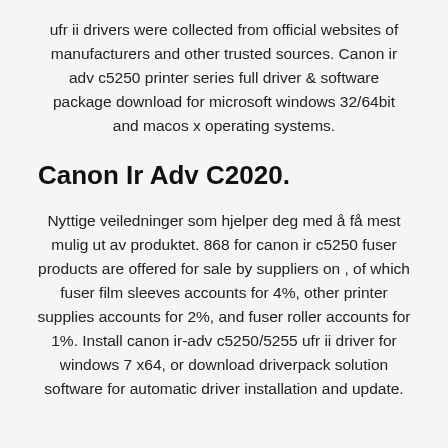ufr ii drivers were collected from official websites of manufacturers and other trusted sources. Canon ir adv c5250 printer series full driver & software package download for microsoft windows 32/64bit and macos x operating systems.
Canon Ir Adv C2020.
Nyttige veiledninger som hjelper deg med å få mest mulig ut av produktet. 868 for canon ir c5250 fuser products are offered for sale by suppliers on , of which fuser film sleeves accounts for 4%, other printer supplies accounts for 2%, and fuser roller accounts for 1%. Install canon ir-adv c5250/5255 ufr ii driver for windows 7 x64, or download driverpack solution software for automatic driver installation and update.